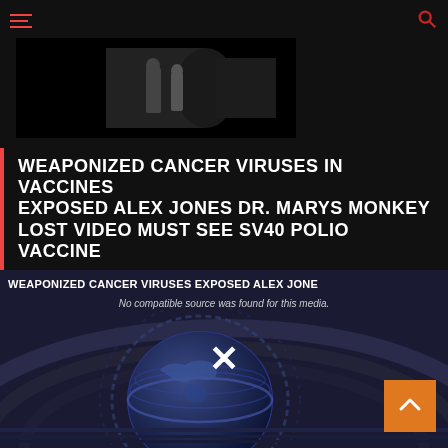Navigation header with hamburger menu and search icon
[Figure (screenshot): Thumbnail image of a video or article, dark/blurry background with silhouettes]
WEAPONIZED CANCER VIRUSES IN VACCINES EXPOSED ALEX JONES DR. MARYS MONKEY LOST VIDEO MUST SEE SV40 POLIO VACCINE
[Figure (screenshot): Video player showing globe/news studio background graphic with overlay text 'WEAPONIZED CANCER VIRUSES EXPOSED ALEX JONE' and error message 'No compatible source was found for this media.' and a close X button in the center]
No compatible source was found for this media.